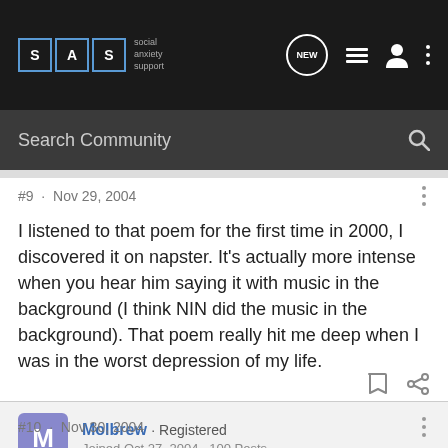SAS - social anxiety support | NEW | menu | user | more
Search Community
#9 · Nov 29, 2004
I listened to that poem for the first time in 2000, I discovered it on napster. It's actually more intense when you hear him saying it with music in the background (I think NIN did the music in the background). That poem really hit me deep when I was in the worst depression of my life.
Molbrew · Registered
Joined Oct 27, 2004 · 100 Posts
#10 · Nov 30, 2004